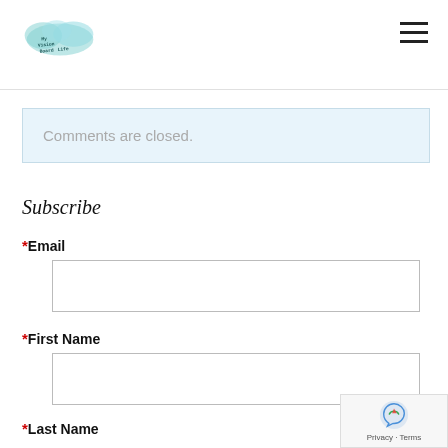Logo and navigation header
Comments are closed.
Subscribe
* Email
* First Name
* Last Name